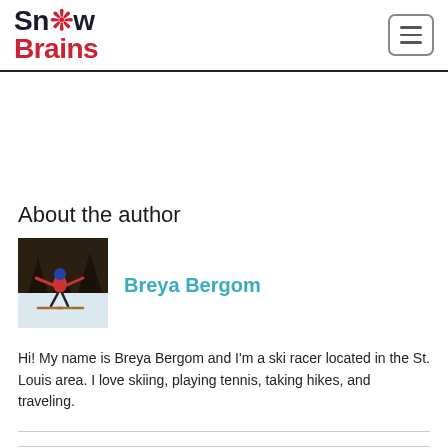SnowBrains
About the author
[Figure (photo): Circular profile photo of Breya Bergom skiing on snow, wearing a helmet, arms outstretched, trees in background]
Breya Bergom
Hi! My name is Breya Bergom and I'm a ski racer located in the St. Louis area. I love skiing, playing tennis, taking hikes, and traveling.
Share your story: